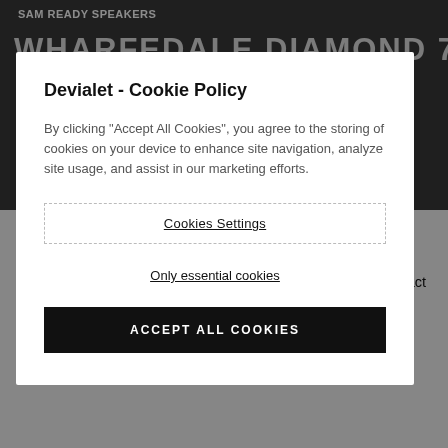SAM READY SPEAKERS
WHARFEDALE DIAMOND 75
DIAMOND 75 ANNIVERSARY
Devialet - Cookie Policy
By clicking “Accept All Cookies”, you agree to the storing of cookies on your device to enhance site navigation, analyze site usage, and assist in our marketing efforts.
Cookies Settings
Only essential cookies
ACCEPT ALL COOKIES
SAM® Speaker Active Matching works by recognizing the exact specs of your speakers. So Expert Pro can tailor the sound signal to fit their precise requirements. In real time. A major audio